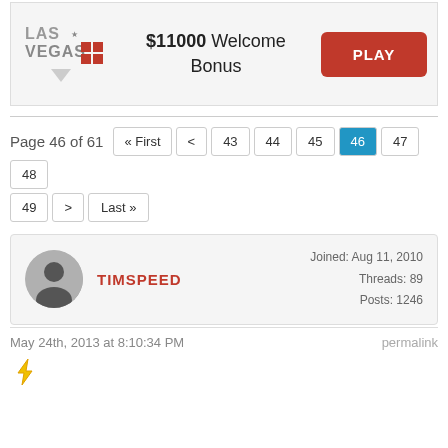[Figure (logo): Las Vegas casino logo with stylized text and red blocks]
$11000 Welcome Bonus
PLAY
Page 46 of 61
« First < 43 44 45 46 47 48 49 > Last »
[Figure (photo): Default user avatar silhouette]
TIMSPEED
Joined: Aug 11, 2010 Threads: 89 Posts: 1246
May 24th, 2013 at 8:10:34 PM
permalink